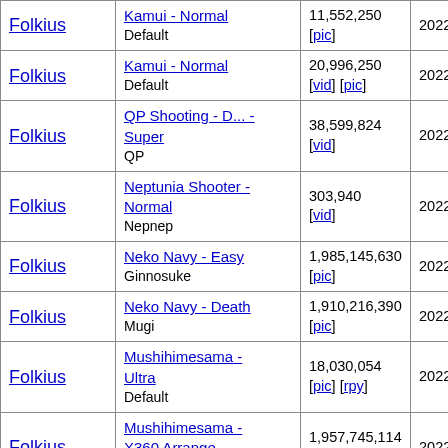| Player | Game / Mode | Score | Date |
| --- | --- | --- | --- |
| Folkius | Kamui - Normal
Default | 11,552,250
[pic] | 2022-08-22 |
| Folkius | Kamui - Normal
Default | 20,996,250
[vid] [pic] | 2022-08-22 |
| Folkius | QP Shooting - D... - Super
QP | 38,599,824
[vid] | 2022-08-22 |
| Folkius | Neptunia Shooter - Normal
Nepnep | 303,940
[vid] | 2022-08-22 |
| Folkius | Neko Navy - Easy
Ginnosuke | 1,985,145,630
[pic] | 2022-08-22 |
| Folkius | Neko Navy - Death
Mugi | 1,910,216,390
[pic] | 2022-08-22 |
| Folkius | Mushihimesama - Ultra
Default | 18,030,054
[pic] [rpy] | 2022-08-22 |
| Folkius | Mushihimesama - X360 Arrange
Default | 1,957,745,114
[vid] [rpy] | 2022-08-22 |
| Folkius | Mushihimesama - Original
Default | 9,592,294
[rpy] | 2022-08-22 |